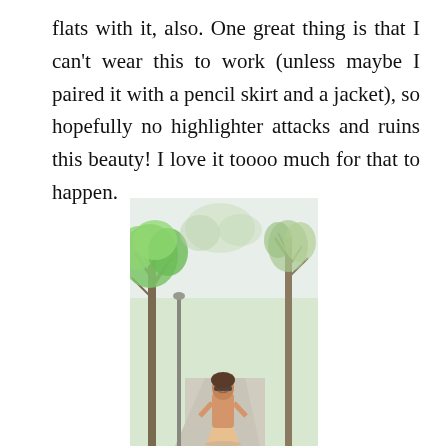flats with it, also. One great thing is that I can't wear this to work (unless maybe I paired it with a pencil skirt and a jacket), so hopefully no highlighter attacks and ruins this beauty! I love it toooo much for that to happen.
[Figure (photo): Outdoor photo of a woman with sunglasses smiling, standing along a tree-lined pathway with lush green spring foliage on the trees against a bright sky.]